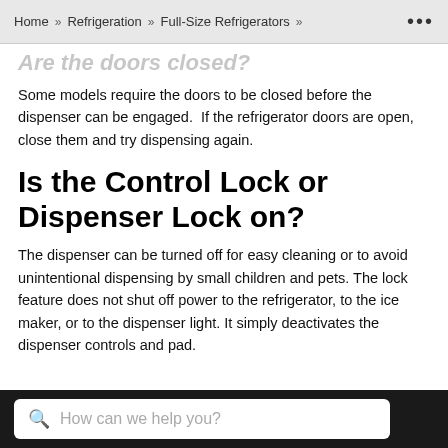Home » Refrigeration » Full-Size Refrigerators » ...
Are the doors closed?
Some models require the doors to be closed before the dispenser can be engaged.  If the refrigerator doors are open, close them and try dispensing again.
Is the Control Lock or Dispenser Lock on?
The dispenser can be turned off for easy cleaning or to avoid unintentional dispensing by small children and pets. The lock feature does not shut off power to the refrigerator, to the ice maker, or to the dispenser light. It simply deactivates the dispenser controls and pad.
[Figure (illustration): Two partial arc/lock icons visible at the bottom of the content area]
How can we help you?